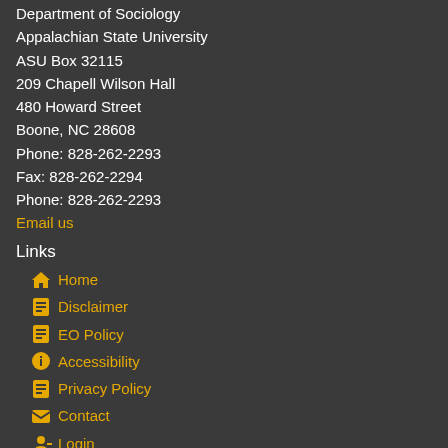Department of Sociology
Appalachian State University
ASU Box 32115
209 Chapell Wilson Hall
480 Howard Street
Boone, NC 28608
Phone: 828-262-2293
Fax: 828-262-2294
Phone: 828-262-2293
Email us
Links
Home
Disclaimer
EO Policy
Accessibility
Privacy Policy
Contact
Login